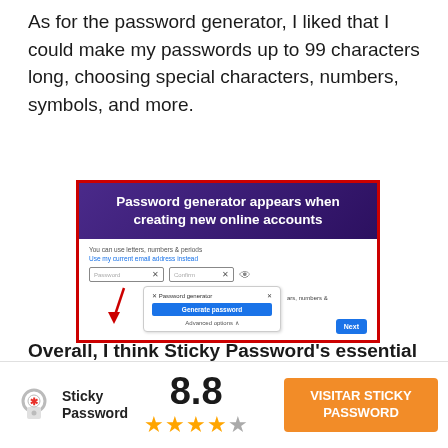As for the password generator, I liked that I could make my passwords up to 99 characters long, choosing special characters, numbers, symbols, and more.
[Figure (screenshot): Screenshot of a password generator popup appearing when creating a new online account. Shows a banner reading 'Password generator appears when creating new online accounts' and a UI with fields for Password and Confirm, a red arrow pointing to a Password generator popup with a 'Generate password' blue button and 'Advanced options', plus a blue 'Next' button.]
Overall, I think Sticky Password's essential password management features are pretty good
[Figure (logo): Sticky Password logo — lock icon with asterisk, text 'Sticky Password']
8.8
VISITAR STICKY PASSWORD